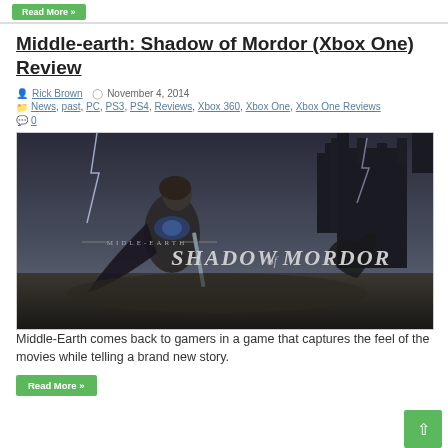Middle-earth: Shadow of Mordor (Xbox One) Review
by Rick Brown   November 4, 2014
News, past, PC, PS3, PS4, Reviews, Xbox 360, Xbox One, Xbox One Reviews
0
[Figure (screenshot): Middle-Earth: Shadow of Mordor game cover art showing a warrior in dark armor standing before a stormy castle landscape with the game title 'MIDDLE-EARTH SHADOW OF MORDOR' displayed prominently]
Middle-Earth comes back to gamers in a game that captures the feel of the movies while telling a brand new story.